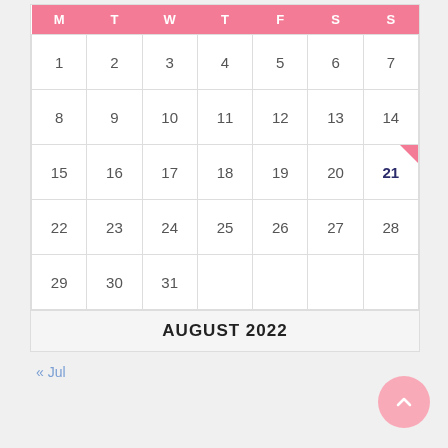| M | T | W | T | F | S | S |
| --- | --- | --- | --- | --- | --- | --- |
| 1 | 2 | 3 | 4 | 5 | 6 | 7 |
| 8 | 9 | 10 | 11 | 12 | 13 | 14 |
| 15 | 16 | 17 | 18 | 19 | 20 | 21 |
| 22 | 23 | 24 | 25 | 26 | 27 | 28 |
| 29 | 30 | 31 |  |  |  |  |
AUGUST 2022
« Jul